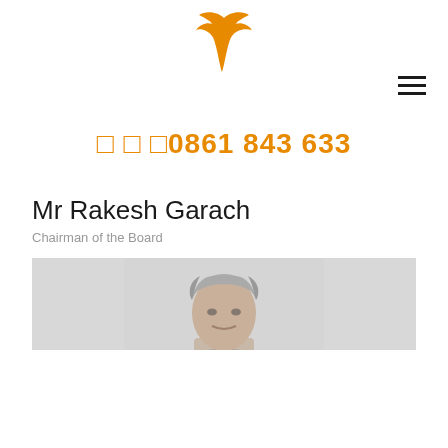[Figure (logo): Orange flying bird/swallow logo centered at top]
[Figure (other): Hamburger menu icon (three horizontal lines) in top right]
☎ ☎ ☎0861 843 633
Mr Rakesh Garach
Chairman of the Board
[Figure (photo): Portrait photo of Mr Rakesh Garach, showing head and upper shoulders with grey hair, light background]